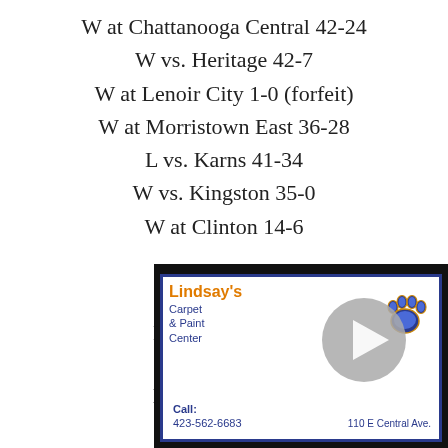W at Chattanooga Central 42-24
W vs. Heritage 42-7
W at Lenoir City 1-0 (forfeit)
W at Morristown East 36-28
L vs. Karns 41-34
W vs. Kingston 35-0
W at Clinton 14-6
Live coverage begins at … the WLAF – Doyle's T… Les Martin, Voice of th… on color send you the…
[Figure (other): Lindsay's Carpet & Paint Center advertisement overlay with play button, paw logo, phone number 423-562-6683, address 110 E Central Ave.]